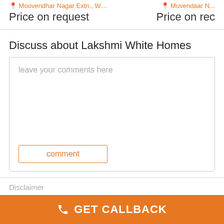Moovendhar Nagar Extn., West Tambaram, C…   Muvendaar…
Price on request   Price on re…
Discuss about Lakshmi White Homes
leave your comments here
comment
Disclaimer
Proptiger.com is not marketing this real estate project…
GET CALLBACK